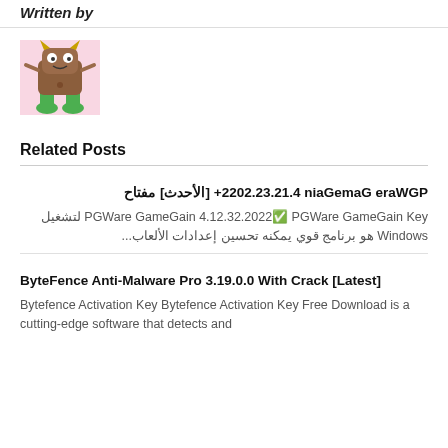Written by
[Figure (illustration): Cartoon monster character: brown square body with horns, green legs, on pink background]
Related Posts
PGWare GameGain 4.12.32.2022+ [الأحدث] مفتاح
PGWare GameGain 4.12.32.2022✅ PGWare GameGain Key لتشغيل Windows هو برنامج قوي يمكنه تحسين إعدادات الألعاب...
ByteFence Anti-Malware Pro 3.19.0.0 With Crack [Latest]
Bytefence Activation Key Bytefence Activation Key Free Download is a cutting-edge software that detects and